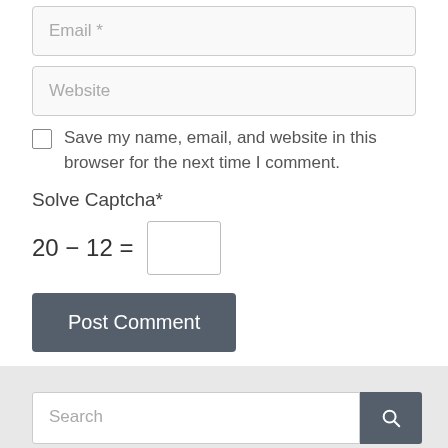Email *
Website
Save my name, email, and website in this browser for the next time I comment.
Solve Captcha*
20 − 12 =
Post Comment
Search